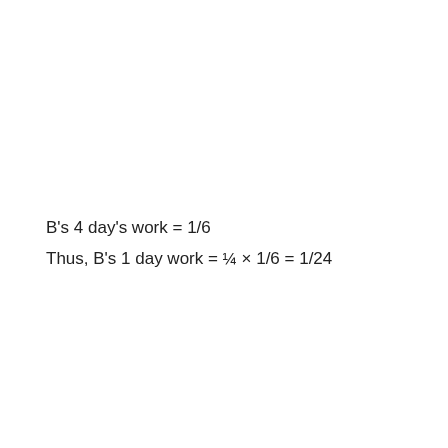B's 4 day's work = 1/6
Thus, B's 1 day work = ¼ × 1/6 = 1/24